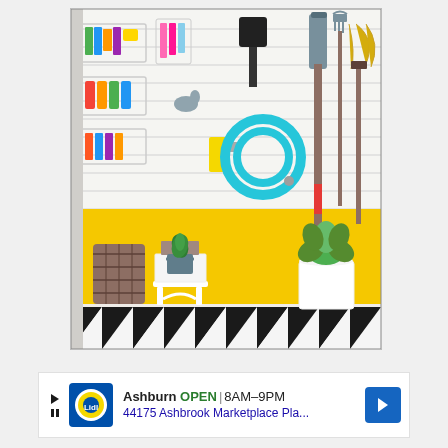[Figure (photo): An organized garage or utility room with a white slatwall panel. On the wall are wire baskets holding cleaning supplies and spray cans, colorful organizers with tools, a teal garden hose, a black dustpan, a shovel, a rake, and a broom. The lower half of the wall is painted yellow. On the black-and-white triangle-patterned floor there is a wicker basket, a white step stool with a small potted plant on top, and a white pot with green succulent plants.]
[Figure (screenshot): An advertisement banner for Lidl store in Ashburn showing: Lidl logo, text 'Ashburn OPEN 8AM-9PM', address '44175 Ashbrook Marketplace Pla...', and a blue navigation arrow icon on the right.]